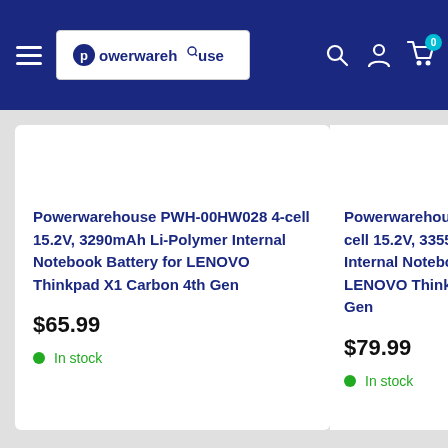Powerwarehouse — Navigation header with logo, search, account, and cart icons
Powerwarehouse PWH-00HW028 4-cell 15.2V, 3290mAh Li-Polymer Internal Notebook Battery for LENOVO Thinkpad X1 Carbon 4th Gen
$65.99
In stock
Powerwarehouse PW... cell 15.2V, 3355mAh... Internal Notebook B... LENOVO Thinkpad X... Gen
$79.99
In stock